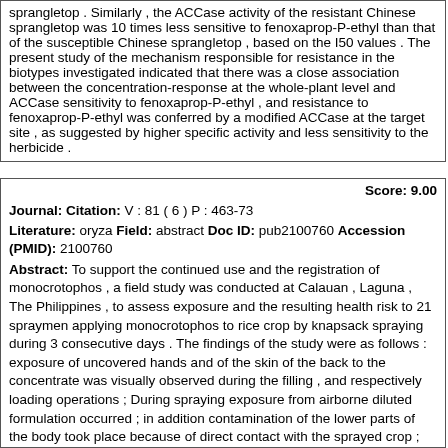sprangletop . Similarly , the ACCase activity of the resistant Chinese sprangletop was 10 times less sensitive to fenoxaprop-P-ethyl than that of the susceptible Chinese sprangletop , based on the I50 values . The present study of the mechanism responsible for resistance in the biotypes investigated indicated that there was a close association between the concentration-response at the whole-plant level and ACCase sensitivity to fenoxaprop-P-ethyl , and resistance to fenoxaprop-P-ethyl was conferred by a modified ACCase at the target site , as suggested by higher specific activity and less sensitivity to the herbicide .
Score: 9.00
Journal: Citation: V : 81 ( 6 ) P : 463-73
Literature: oryza Field: abstract Doc ID: pub2100760 Accession (PMID): 2100760
Abstract: To support the continued use and the registration of monocrotophos , a field study was conducted at Calauan , Laguna , The Philippines , to assess exposure and the resulting health risk to 21 spraymen applying monocrotophos to rice crop by knapsack spraying during 3 consecutive days . The findings of the study were as follows : exposure of uncovered hands and of the skin of the back to the concentrate was visually observed during the filling , and respectively loading operations ; During spraying exposure from airborne diluted formulation occurred ; in addition contamination of the lower parts of the body took place because of direct contact with the sprayed crop ; Determination of the amount of the urinary metabolite dimethylphosphate excreted in 24 hours urine samples demonstrated absorption of monocrotophos into the body of the spraymen . The half-life of elimination of the urinary metabolite from the body was on average 18 hours ; No clinically significant inhibitions of whole blood or red blood cell